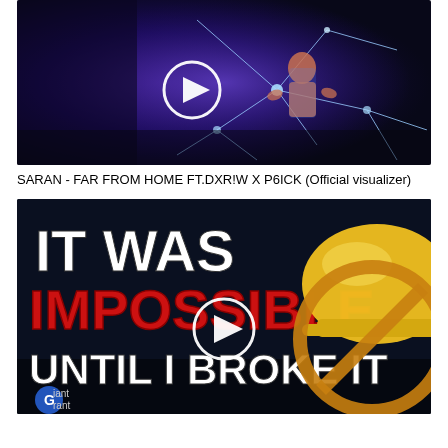[Figure (screenshot): Video thumbnail showing a dark blue/purple scene with a shirtless person and shattered glass/light effects, with a white circular play button overlay in the center.]
SARAN - FAR FROM HOME FT.DXR!W X P6ICK (Official visualizer)
[Figure (screenshot): Video thumbnail with bold text reading 'IT WAS IMPOSSIBLE UNTIL I BROKE IT' — white and red large font over a dark sci-fi background with a yellow hard hat graphic and a no-entry symbol on the right side. White circular play button in center. 'Giant Grant' logo in bottom left corner.]